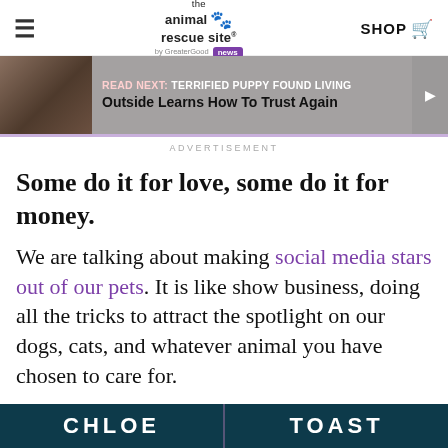the animal rescue site by GreaterGood news | SHOP
[Figure (screenshot): Read Next banner showing a dog thumbnail with text 'READ NEXT: Terrified Puppy Found Living Outside Learns How To Trust Again']
ADVERTISEMENT
Some do it for love, some do it for money.
We are talking about making social media stars out of our pets. It is like show business, doing all the tricks to attract the spotlight on our dogs, cats, and whatever animal you have chosen to care for.
[Figure (screenshot): Bottom image strip showing two pet names: CHLOE on the left and TOAST on the right, dark teal background]